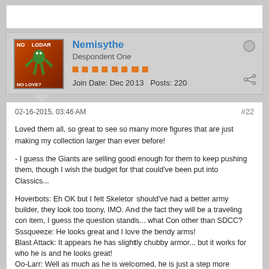[Figure (screenshot): Top partial white card area]
[Figure (photo): User avatar image for Nemisythe showing a green alien character with text NO LODAR and NO LOVE?]
Nemisythe
Despondent One
Join Date: Dec 2013  Posts: 220
02-16-2015, 03:46 AM
#22
Loved them all, so great to see so many more figures that are just making my collection larger than ever before!

- I guess the Giants are selling good enough for them to keep pushing them, though I wish the budget for that could've been put into Classics...

Hoverbots: Eh OK but I felt Skeletor should've had a better army builder, they look too toony, IMO. And the fact they will be a traveling con item, I guess the question stands... what Con other than SDCC?
Sssqueeze: He looks great and I love the bendy arms!
Blast Attack: It appears he has slightly chubby armor... but it works for who he is and he looks great!
Oo-Larr: Well as much as he is welcomed, he is just a step more desirable than the Hoverbots. I don't remember so who is that sword for?
Queen Angela: Looks Nice.
Huntara: Definitely enjoying this character and look forward to her next